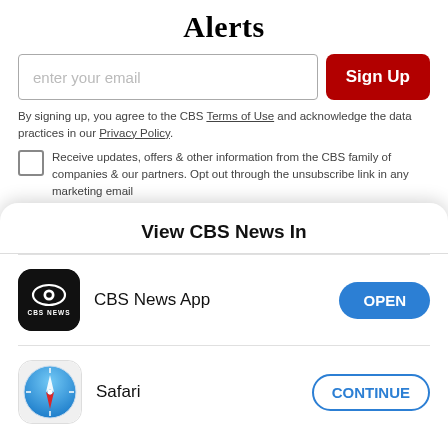Alerts
enter your email
Sign Up
By signing up, you agree to the CBS Terms of Use and acknowledge the data practices in our Privacy Policy.
Receive updates, offers & other information from the CBS family of companies & our partners. Opt out through the unsubscribe link in any marketing email
Twenty-six states are "certain or likely" to ban abortion if the high court justices strike down Roe v.
View CBS News In
CBS News App
OPEN
Safari
CONTINUE